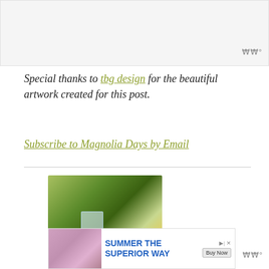[Figure (other): Top gray bar area with Wunderman watermark logo]
Special thanks to tbg design for the beautiful artwork created for this post.
Subscribe to Magnolia Days by Email
[Figure (photo): Photo of a tall glass of lemonade with mint and a lemon slice on the rim, surrounded by lemon slices and a whole lemon, on an outdoor table with greenery in the background.]
0 from 0 votes
[Figure (other): Advertisement banner: Summer the Superior Way with Buy Now button]